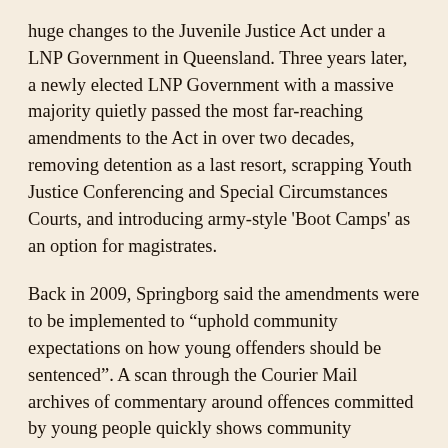huge changes to the Juvenile Justice Act under a LNP Government in Queensland. Three years later, a newly elected LNP Government with a massive majority quietly passed the most far-reaching amendments to the Act in over two decades, removing detention as a last resort, scrapping Youth Justice Conferencing and Special Circumstances Courts, and introducing army-style 'Boot Camps' as an option for magistrates.
Back in 2009, Springborg said the amendments were to be implemented to “uphold community expectations on how young offenders should be sentenced”. A scan through the Courier Mail archives of commentary around offences committed by young people quickly shows community expectations over many years can be summed up by the 'do the crime, do the time' cliché. Articles on youth crime are largely underpinned by an irrational community fear of 'youth' which does not match the reality of rates of crime committed (which is actually decreasing according to a